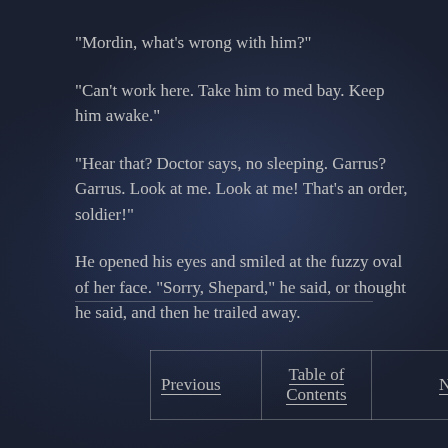“Mordin, what’s wrong with him?”
“Can’t work here. Take him to med bay. Keep him awake.”
“Hear that? Doctor says, no sleeping. Garrus? Garrus. Look at me. Look at me! That’s an order, soldier!”
He opened his eyes and smiled at the fuzzy oval of her face. “Sorry, Shepard,” he said, or thought he said, and then he trailed away.
| Previous | Table of Contents | Next |
| --- | --- | --- |